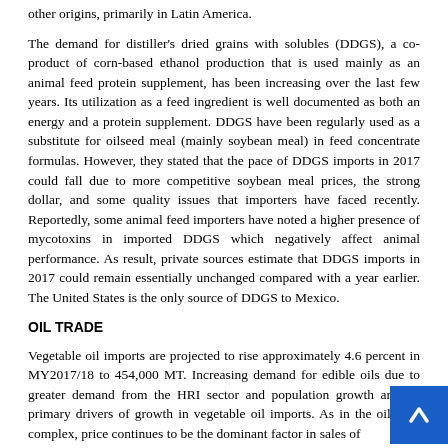other origins, primarily in Latin America.
The demand for distiller's dried grains with solubles (DDGS), a co-product of corn-based ethanol production that is used mainly as an animal feed protein supplement, has been increasing over the last few years. Its utilization as a feed ingredient is well documented as both an energy and a protein supplement. DDGS have been regularly used as a substitute for oilseed meal (mainly soybean meal) in feed concentrate formulas. However, they stated that the pace of DDGS imports in 2017 could fall due to more competitive soybean meal prices, the strong dollar, and some quality issues that importers have faced recently. Reportedly, some animal feed importers have noted a higher presence of mycotoxins in imported DDGS which negatively affect animal performance. As result, private sources estimate that DDGS imports in 2017 could remain essentially unchanged compared with a year earlier. The United States is the only source of DDGS to Mexico.
OIL TRADE
Vegetable oil imports are projected to rise approximately 4.6 percent in MY2017/18 to 454,000 MT. Increasing demand for edible oils due to greater demand from the HRI sector and population growth are the primary drivers of growth in vegetable oil imports. As in the oilseeds complex, price continues to be the dominant factor in sales of